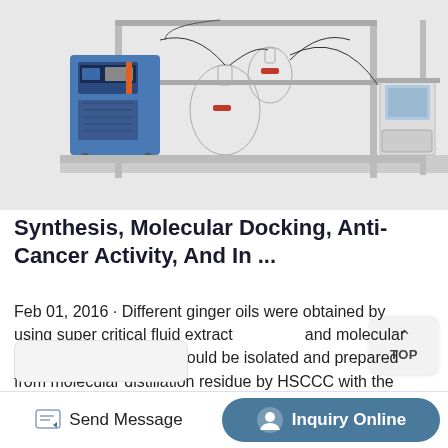[Figure (photo): Laboratory distillation apparatus on a metal stand frame, with a blue chiller unit on the left, glass flasks and tubing in the center, and electronic control equipment on the right.]
Synthesis, Molecular Docking, Anti-Cancer Activity, And In ...
Feb 01, 2016 · Different ginger oils were obtained by using super critical fluid extraction and molecular distillation. • 6-gingerol could be isolated and prepared from molecular distillation residue by HSCCC with the purity over 99%. • Ginger oils and 6-gingerol show the antioxidant activity in vitro.
Send Message   Inquiry Online